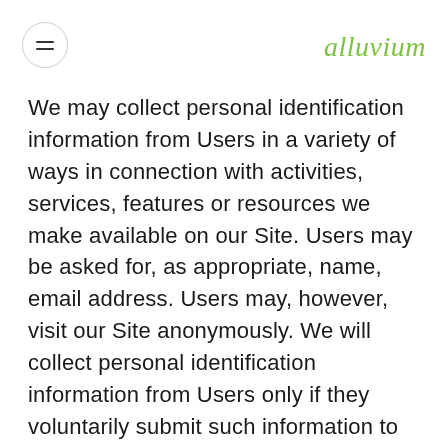alluvium
We may collect personal identification information from Users in a variety of ways in connection with activities, services, features or resources we make available on our Site. Users may be asked for, as appropriate, name, email address. Users may, however, visit our Site anonymously. We will collect personal identification information from Users only if they voluntarily submit such information to us. Users can always